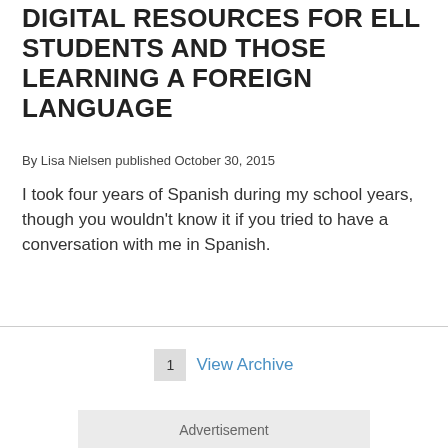DIGITAL RESOURCES FOR ELL STUDENTS AND THOSE LEARNING A FOREIGN LANGUAGE
By Lisa Nielsen published October 30, 2015
I took four years of Spanish during my school years, though you wouldn't know it if you tried to have a conversation with me in Spanish.
1  View Archive
Advertisement